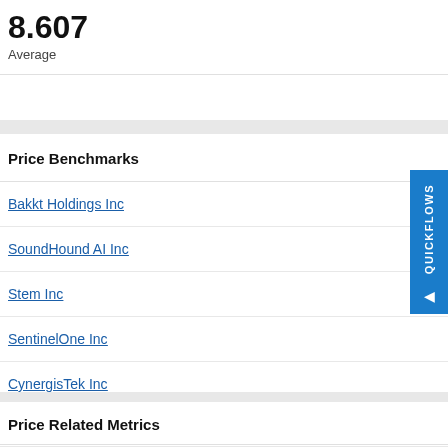8.607 Average
9.95 Median JUN 29 2020
Price Benchmarks
Bakkt Holdings Inc
SoundHound AI Inc
Stem Inc
SentinelOne Inc
CynergisTek Inc
Price Related Metrics